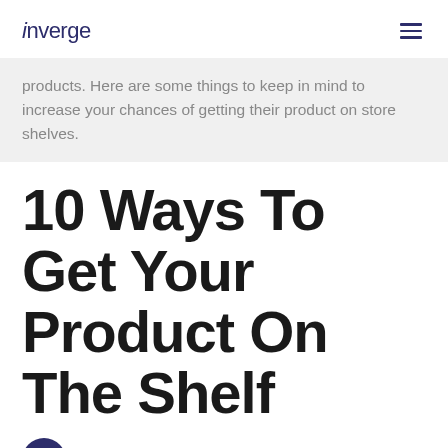inverge
products. Here are some things to keep in mind to increase your chances of getting their product on store shelves.
10 Ways To Get Your Product On The Shelf
1 Find Similar Products
Find out which products on the store's shelves